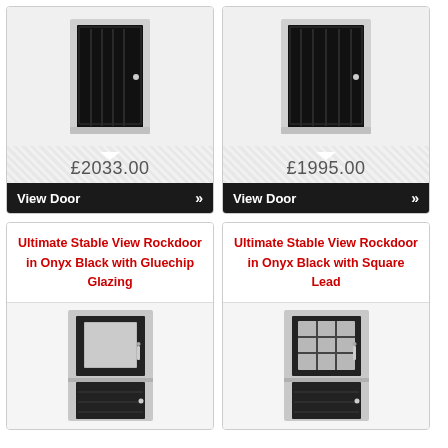[Figure (photo): Dark door with vertical panel strips, shown in top-down product card view with price £2033.00 and View Door button]
£2033.00
View Door ›
[Figure (photo): Dark door with vertical panel strips (wider), shown in product card view with price £1995.00 and View Door button]
£1995.00
View Door ›
Ultimate Stable View Rockdoor in Onyx Black with Gluechip Glazing
[Figure (photo): Black stable door with large square frosted glass panel in upper half and horizontal ribbed lower panel, silver handle]
Ultimate Stable View Rockdoor in Onyx Black with Square Lead
[Figure (photo): Black stable door with 9-pane square lead glazed window in upper half and horizontal ribbed lower panel, silver handle]